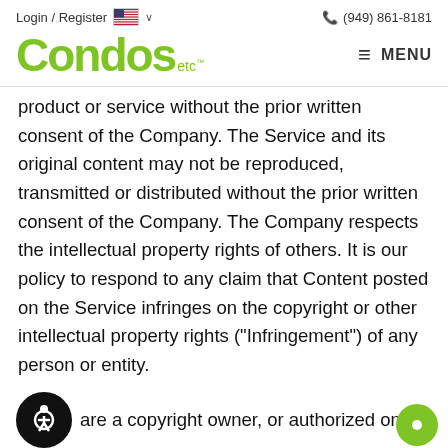Login / Register   (949) 861-8181
[Figure (logo): Condos etc logo in green with trademark symbol and hamburger MENU icon]
product or service without the prior written consent of the Company. The Service and its original content may not be reproduced, transmitted or distributed without the prior written consent of the Company. The Company respects the intellectual property rights of others. It is our policy to respond to any claim that Content posted on the Service infringes on the copyright or other intellectual property rights ("Infringement") of any person or entity.
If you are a copyright owner, or authorized on behalf